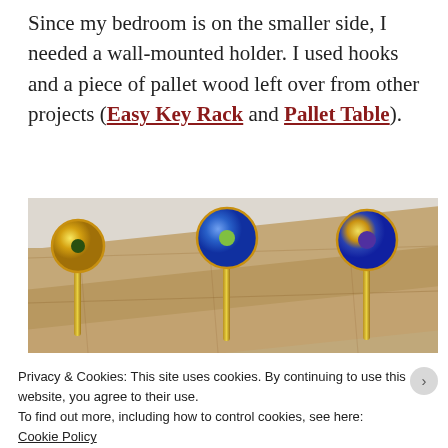Since my bedroom is on the smaller side, I needed a wall-mounted holder. I used hooks and a piece of pallet wood left over from other projects (Easy Key Rack and Pallet Table).
[Figure (photo): Photo of a wall-mounted pallet wood holder with three decorative ceramic knob hooks. The hooks have floral designs — yellow/green, blue/green, and yellow/purple sunflower patterns — mounted on gold/brass stems into a rough pallet wood board.]
Privacy & Cookies: This site uses cookies. By continuing to use this website, you agree to their use.
To find out more, including how to control cookies, see here: Cookie Policy
Close and accept